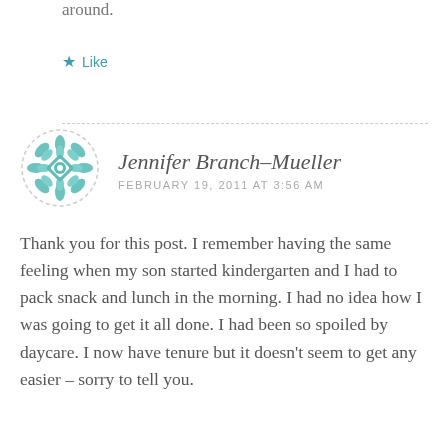around.
★ Like
[Figure (illustration): Circular avatar with teal geometric/floral mandala pattern on white background with dashed border]
Jennifer Branch–Mueller
FEBRUARY 19, 2011 AT 3:56 AM
Thank you for this post. I remember having the same feeling when my son started kindergarten and I had to pack snack and lunch in the morning. I had no idea how I was going to get it all done. I had been so spoiled by daycare. I now have tenure but it doesn't seem to get any easier – sorry to tell you.